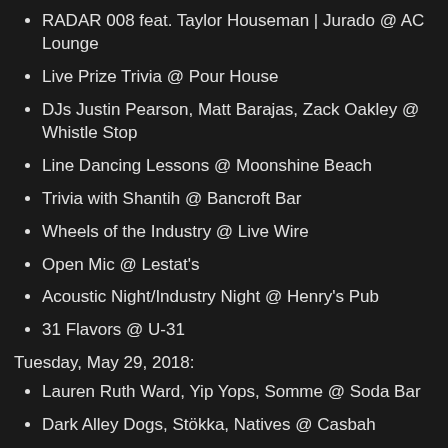RADAR 008 feat. Taylor Houseman | Jurado @ AC Lounge
Live Prize Trivia @ Pour House
DJs Justin Pearson, Matt Barajas, Zack Oakley @ Whistle Stop
Line Dancing Lessons @ Moonshine Beach
Trivia with Shantih @ Bancroft Bar
Wheels of the Industry @ Live Wire
Open Mic @ Lestat's
Acoustic Night/Industry Night @ Henry's Pub
31 Flavors @ U-31
Tuesday, May 29, 2018:
Lauren Ruth Ward, Yip Yops, Somme @ Soda Bar
Dark Alley Dogs, Stökka, Natives @ Casbah